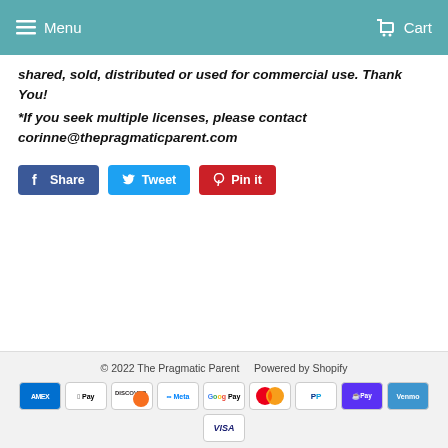Menu   Cart
shared, sold, distributed or used for commercial use. Thank You!
*If you seek multiple licenses, please contact corinne@thepragmaticparent.com
[Figure (other): Social share buttons: Share (Facebook), Tweet (Twitter), Pin it (Pinterest)]
© 2022 The Pragmatic Parent   Powered by Shopify — Payment icons: Amex, Apple Pay, Discover, Meta, Google Pay, Mastercard, PayPal, Shop Pay, Venmo, Visa